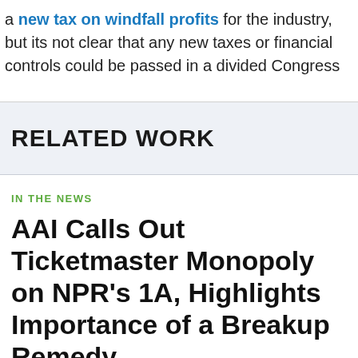a new tax on windfall profits for the industry, but its not clear that any new taxes or financial controls could be passed in a divided Congress
RELATED WORK
IN THE NEWS
AAI Calls Out Ticketmaster Monopoly on NPR’s 1A, Highlights Importance of a Breakup Remedy